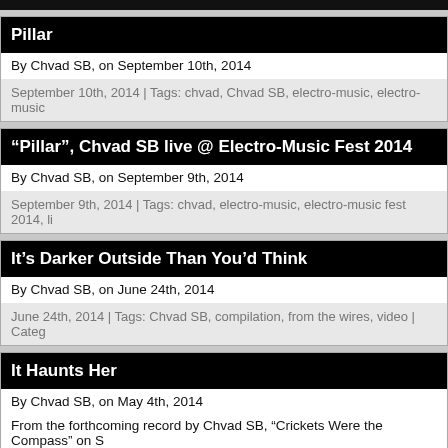Pillar
By Chvad SB, on September 10th, 2014
September 10th, 2014 | Tags: chvad, Chvad SB, electro-music, electro-music
“Pillar”, Chvad SB live @ Electro-Music Fest 2014
By Chvad SB, on September 9th, 2014
September 9th, 2014 | Tags: chvad, electro-music, electro-music fest 2014, li
It’s Darker Outside Than You’d Think
By Chvad SB, on June 24th, 2014
June 24th, 2014 | Tags: Chvad SB, compilation, from the wires, video | Categ
It Haunts Her
By Chvad SB, on May 4th, 2014
From the forthcoming record by Chvad SB, “Crickets Were the Compass” on S